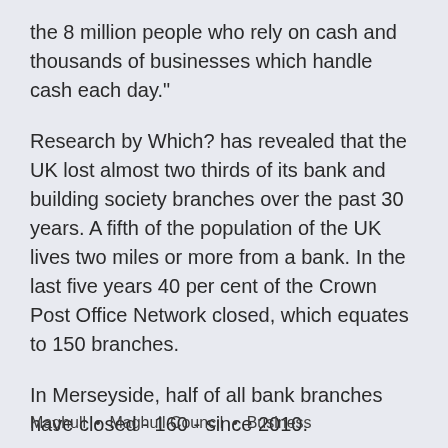the 8 million people who rely on cash and thousands of businesses which handle cash each day."
Research by Which? has revealed that the UK lost almost two thirds of its bank and building society branches over the past 30 years. A fifth of the population of the UK lives two miles or more from a bank. In the last five years 40 per cent of the Crown Post Office Network closed, which equates to 150 branches.
In Merseyside, half of all bank branches have closed - 160 - since 2010.
Maghull  •  Maghull Council  •  Business